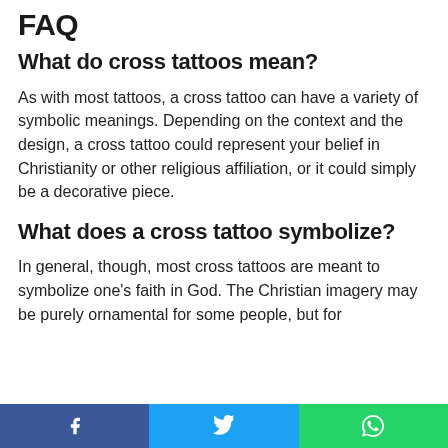FAQ
What do cross tattoos mean?
As with most tattoos, a cross tattoo can have a variety of symbolic meanings. Depending on the context and the design, a cross tattoo could represent your belief in Christianity or other religious affiliation, or it could simply be a decorative piece.
What does a cross tattoo symbolize?
In general, though, most cross tattoos are meant to symbolize one's faith in God. The Christian imagery may be purely ornamental for some people, but for